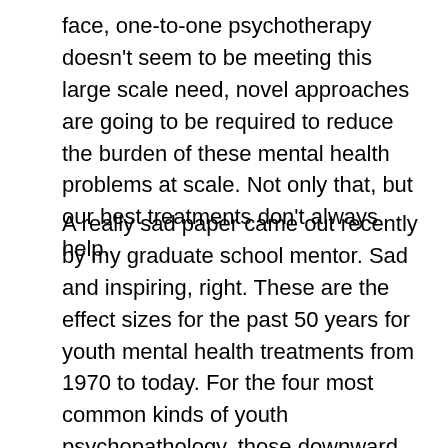face, one-to-one psychotherapy doesn't seem to be meeting this large scale need, novel approaches are going to be required to reduce the burden of these mental health problems at scale. Not only that, but our best treatments don't always help.
A really sad paper came out recently by my graduate school mentor. Sad and inspiring, right. These are the effect sizes for the past 50 years for youth mental health treatments from 1970 to today. For the four most common kinds of youth psychopathology, those downward spokes for depression and conduct problems are significant. We've gotten worse at treating depression and conduct problems over the past 50 years. Maybe because we're using great control groups now, but maybe not. Bottom line is, we need to do better both at enhancing the potency of the interventions that we have and their scalability.